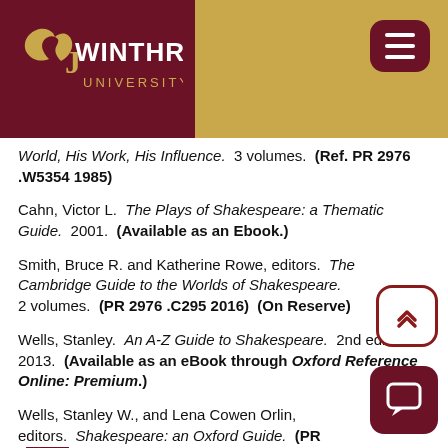Winthrop University
World, His Work, His Influence. 3 volumes. (Ref. PR 2976 .W5354 1985)
Cahn, Victor L. The Plays of Shakespeare: a Thematic Guide. 2001. (Available as an Ebook.)
Smith, Bruce R. and Katherine Rowe, editors. The Cambridge Guide to the Worlds of Shakespeare. 2 volumes. (PR 2976 .C295 2016) (On Reserve)
Wells, Stanley. An A-Z Guide to Shakespeare. 2nd edition. 2013. (Available as an eBook through Oxford Reference Online: Premium.)
Wells, Stanley W., and Lena Cowen Orlin, editors. Shakespeare: an Oxford Guide. (PR 2976 .O33 2003)